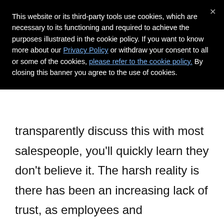This website or its third-party tools use cookies, which are necessary to its functioning and required to achieve the purposes illustrated in the cookie policy. If you want to know more about our Privacy Policy or withdraw your consent to all or some of the cookies, please refer to the cookie policy. By closing this banner you agree to the use of cookies.
transparently discuss this with most salespeople, you'll quickly learn they don't believe it. The harsh reality is there has been an increasing lack of trust, as employees and salespeople see themselves as disposable assets. A seismic shift has occurred within the cultural norm of employee-employer relationships and it demands a different